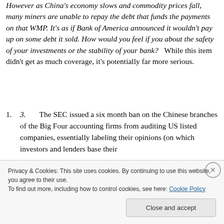However as China's economy slows and commodity prices fall, many miners are unable to repay the debt that funds the payments on that WMP. It's as if Bank of America announced it wouldn't pay up on some debt it sold. How would you feel if you about the safety of your investments or the stability of your bank?   While this item didn't get as much coverage, it's potentially far more serious.
3.       The SEC issued a six month ban on the Chinese branches of the Big Four accounting firms from auditing US listed companies, essentially labeling their opinions (on which investors and lenders base their
Privacy & Cookies: This site uses cookies. By continuing to use this website, you agree to their use.
To find out more, including how to control cookies, see here: Cookie Policy